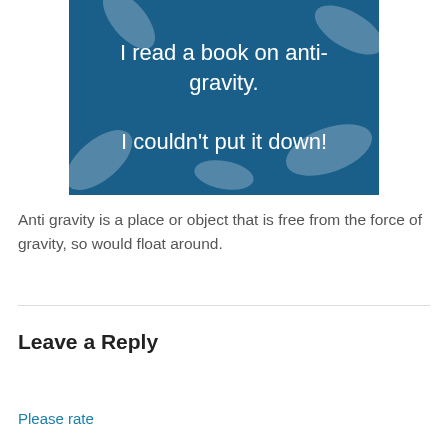[Figure (illustration): Blue card with white text reading 'I read a book on anti-gravity. I couldn't put it down!' with decorative leaf patterns in the background.]
Anti gravity is a place or object that is free from the force of gravity, so would float around.
Leave a Reply
Please rate